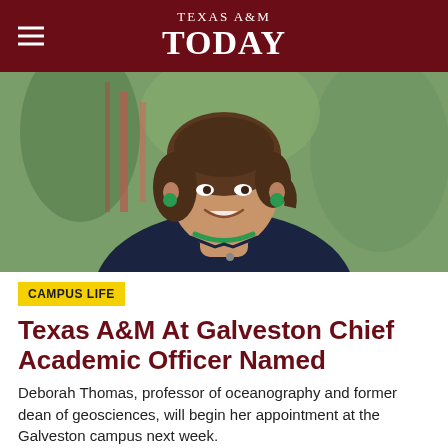TEXAS A&M TODAY
[Figure (photo): Portrait photo of Deborah Thomas, a woman smiling, wearing a dark navy top and green beaded necklace and earrings, photographed outdoors with green foliage in background]
CAMPUS LIFE
Texas A&M At Galveston Chief Academic Officer Named
Deborah Thomas, professor of oceanography and former dean of geosciences, will begin her appointment at the Galveston campus next week.